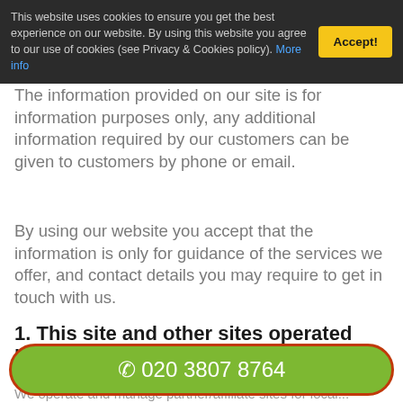This website uses cookies to ensure you get the best experience on our website. By using this website you agree to our use of cookies (see Privacy & Cookies policy). More info
Accept!
The information provided on our site is for information purposes only, any additional information required by our customers can be given to customers by phone or email.
By using our website you accept that the information is only for guidance of the services we offer, and contact details you may require to get in touch with us.
1. This site and other sites operated by us.
☎ 020 3807 8764